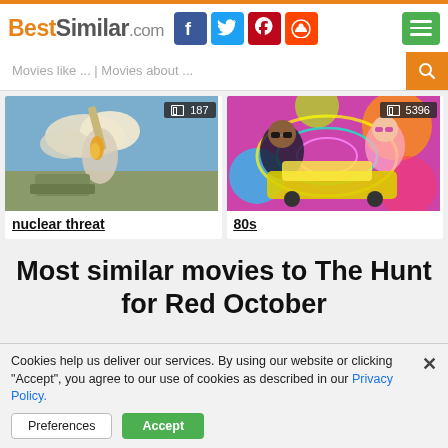BestSimilar.com
[Figure (screenshot): Nuclear threat movie thumbnail with missile launch, badge showing 187]
nuclear threat
[Figure (screenshot): 80s movie thumbnail with colorful psychedelic art, badge showing 5396]
80s
Most similar movies to The Hunt for Red October
Cookies help us deliver our services. By using our website or clicking "Accept", you agree to our use of cookies as described in our Privacy Policy.